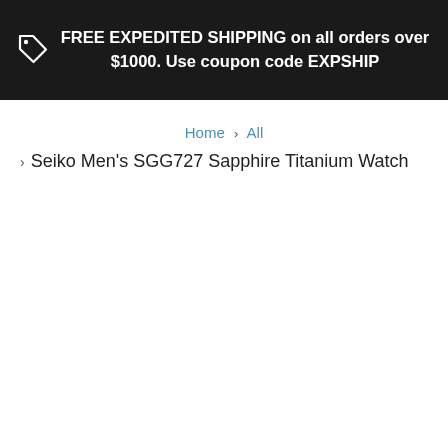FREE EXPEDITED SHIPPING on all orders over $1000. Use coupon code EXPSHIP
Home › All
› Seiko Men's SGG727 Sapphire Titanium Watch